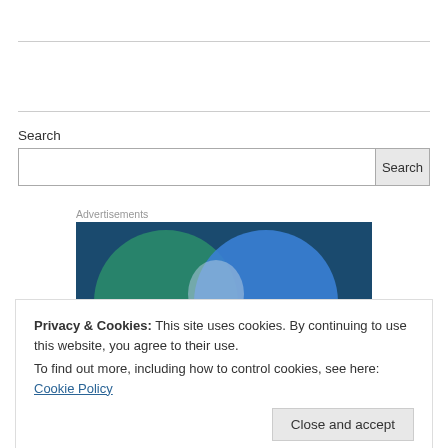Search
[Figure (screenshot): Search bar with input field and Search button]
Advertisements
[Figure (illustration): Advertisement image showing overlapping green and blue circles on dark blue background]
Privacy & Cookies: This site uses cookies. By continuing to use this website, you agree to their use.
To find out more, including how to control cookies, see here: Cookie Policy
Close and accept
[Figure (logo): Build Your Website — WordPress.com advertisement banner]